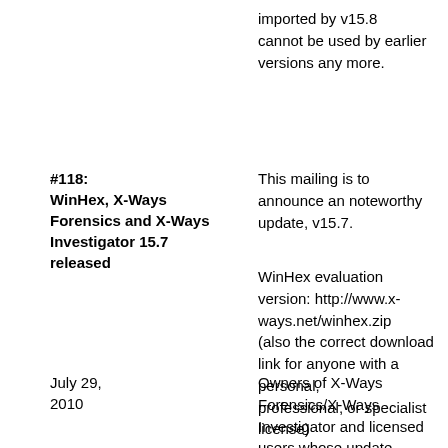imported by v15.8
cannot be used by earlier versions any more.
#118: WinHex, X-Ways Forensics and X-Ways Investigator 15.7 released
This mailing is to announce an noteworthy update, v15.7.
WinHex evaluation version: http://www.x-ways.net/winhex.zip
(also the correct download link for anyone with a personal,
professional, or specialist license)
July 29, 2010
Owners of X-Ways Forensics/X-Ways Investigator and licensed
users whose update maintenance has expired this time need
to go to http://www.x-ways.net/winhex/license.html for log-
in data (password for downloads and forum!!), download links,
update maintenance, upgrade offers, and more.
Please be advised that if you are interested in